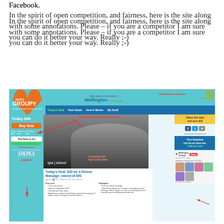Facebook.
In the spirit of open competition, and fairness, here is the site along with some annotations. Please – if you are a competitor I am sure you can do it better your way. Really ;-)
[Figure (screenshot): Screenshot of the Groupy Deals website showing a Wellington daily deals page with a $49 Deluxe Massage offer, Facebook connect, buy now button, social sharing options, and annotations highlighting various features including super simple buying process, Facebook fans section, and countdown timer.]